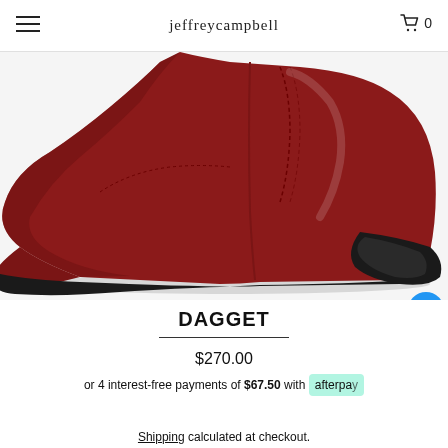jeffreycampbell
[Figure (photo): Close-up photo of a dark red/burgundy pointed-toe cowboy ankle boot with a block heel, shown from the side on a white background.]
DAGGET
$270.00
or 4 interest-free payments of $67.50 with afterpay
Shipping calculated at checkout.